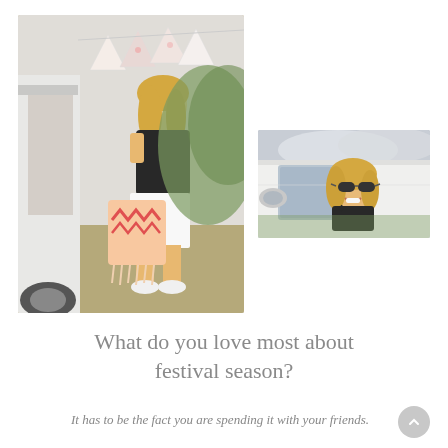[Figure (photo): A blonde woman in a black top and white skirt standing at the open back of a white VW camper van, holding a pink boho bag, with bunting flags overhead, outdoors in a field setting.]
[Figure (photo): A smiling blonde woman wearing sunglasses leaning out of the window of a white vehicle, with a cloudy sky and greenery in the background.]
What do you love most about festival season?
It has to be the fact you are spending it with your friends.